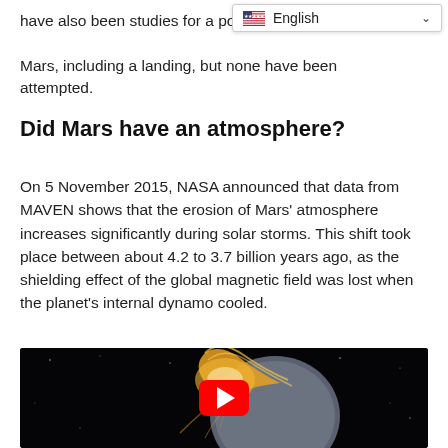have also been studies for a possible human mission to Mars, including a landing, but none have been attempted.
[Figure (other): Language selector dropdown showing English with US flag and chevron]
Did Mars have an atmosphere?
On 5 November 2015, NASA announced that data from MAVEN shows that the erosion of Mars' atmosphere increases significantly during solar storms. This shift took place between about 4.2 to 3.7 billion years ago, as the shielding effect of the global magnetic field was lost when the planet's internal dynamo cooled.
[Figure (illustration): Video thumbnail showing artistic illustration of Mars losing its atmosphere to solar wind, with a YouTube play button overlay. Dark space background with Mars depicted as a grey sphere with golden-orange atmospheric stripping effect.]